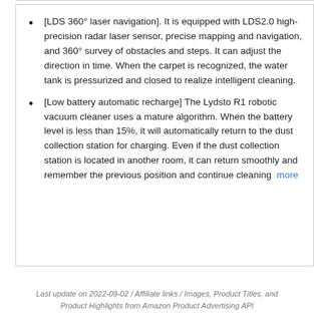[LDS 360° laser navigation]. It is equipped with LDS2.0 high-precision radar laser sensor, precise mapping and navigation, and 360° survey of obstacles and steps. It can adjust the direction in time. When the carpet is recognized, the water tank is pressurized and closed to realize intelligent cleaning.
[Low battery automatic recharge] The Lydsto R1 robotic vacuum cleaner uses a mature algorithm. When the battery level is less than 15%, it will automatically return to the dust collection station for charging. Even if the dust collection station is located in another room, it can return smoothly and remember the previous position and continue cleaning more
Last update on 2022-09-02 / Affiliate links / Images, Product Titles, and Product Highlights from Amazon Product Advertising API